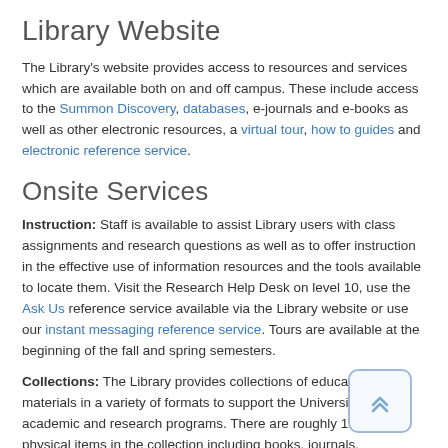Library Website
The Library's website provides access to resources and services which are available both on and off campus. These include access to the Summon Discovery, databases, e-journals and e-books as well as other electronic resources, a virtual tour, how to guides and electronic reference service.
Onsite Services
Instruction: Staff is available to assist Library users with class assignments and research questions as well as to offer instruction in the effective use of information resources and the tools available to locate them. Visit the Research Help Desk on level 10, use the Ask Us reference service available via the Library website or use our instant messaging reference service. Tours are available at the beginning of the fall and spring semesters.
Collections: The Library provides collections of educational materials in a variety of formats to support the University's academic and research programs. There are roughly 1.4 million physical items in the collection including books, journals, government publications, audiovisuals, maps, and microforms. In